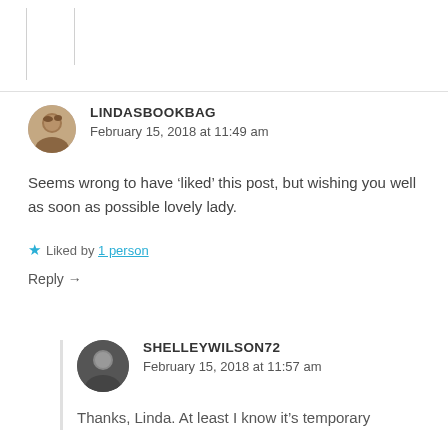[Figure (screenshot): Top portion of a previous comment, partially visible, with vertical line decorators on the left side.]
LINDASBOOKBAG
February 15, 2018 at 11:49 am
Seems wrong to have ‘liked’ this post, but wishing you well as soon as possible lovely lady.
Liked by 1 person
Reply →
SHELLEYWILSON72
February 15, 2018 at 11:57 am
Thanks, Linda. At least I know it’s temporary